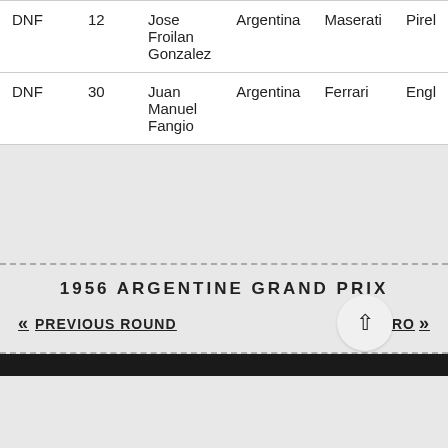| Pos | No | Driver | Nationality | Constructor | Tyre |
| --- | --- | --- | --- | --- | --- |
| DNF | 12 | Jose Froilan Gonzalez | Argentina | Maserati | Pirel… |
| DNF | 30 | Juan Manuel Fangio | Argentina | Ferrari | Engl… |
1956 ARGENTINE GRAND PRIX
« PREVIOUS ROUND
NEXT RO »